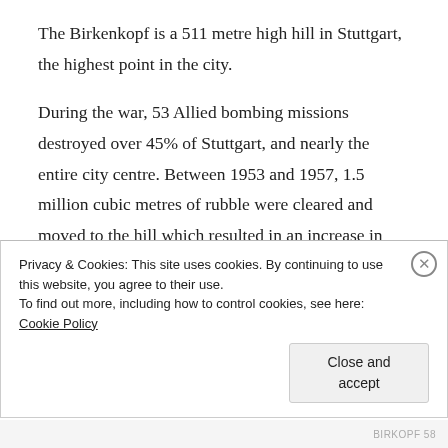The Birkenkopf is a 511 metre high hill in Stuttgart, the highest point in the city.
During the war, 53 Allied bombing missions destroyed over 45% of Stuttgart, and nearly the entire city centre. Between 1953 and 1957, 1.5 million cubic metres of rubble were cleared and moved to the hill which resulted in an increase in height of around 40 metres.
We walked up the long winding path to the top.  At the summit there were many recognisable facades from
Privacy & Cookies: This site uses cookies. By continuing to use this website, you agree to their use.
To find out more, including how to control cookies, see here: Cookie Policy
Close and accept